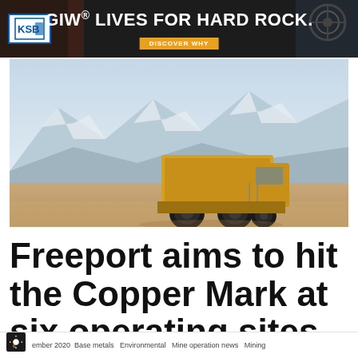[Figure (infographic): GIW advertisement banner with dark background, KSB logo on left, large white bold text reading 'GIW® LIVES FOR HARD ROCK.' with orange 'DISCOVER WHY' button and industrial pump image on right]
[Figure (photo): Aerial photo of a large yellow haul truck at an open-pit copper mine with snow-capped mountains in the background and light blue sky]
Freeport aims to hit the Copper Mark at six operating sites
ember 2020Base metals  Environmental  Mine operation news  Mining